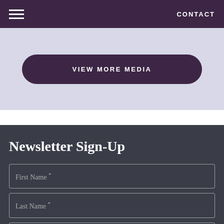CONTACT
VIEW MORE MEDIA
Newsletter Sign-Up
First Name *
Last Name *
Email *
SUBSCRIBE